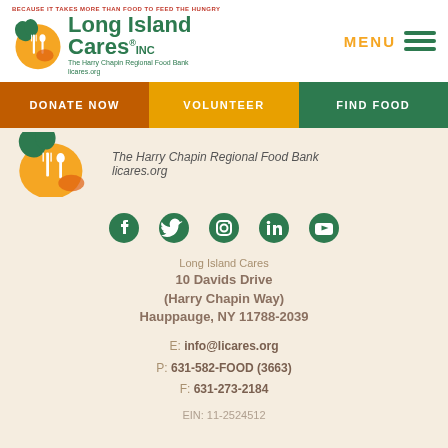[Figure (logo): Long Island Cares Inc logo with fork and spoon icon, tagline BECAUSE IT TAKES MORE THAN FOOD TO FEED THE HUNGRY]
MENU
DONATE NOW | VOLUNTEER | FIND FOOD
The Harry Chapin Regional Food Bank
licares.org
[Figure (illustration): Social media icons: Facebook, Twitter, Instagram, LinkedIn, YouTube in dark green]
Long Island Cares
10 Davids Drive
(Harry Chapin Way)
Hauppauge, NY 11788-2039
E: info@licares.org
P: 631-582-FOOD (3663)
F: 631-273-2184
EIN: 11-2524512